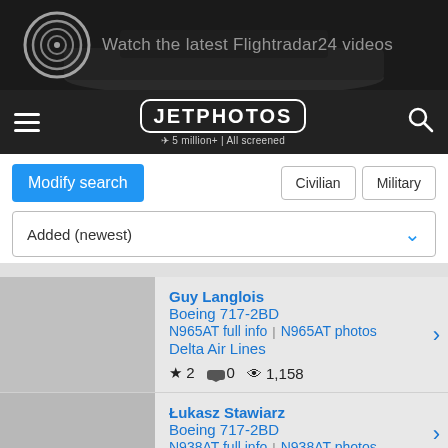[Figure (screenshot): Flightradar24 banner advertisement showing airplane and logo with text: Watch the latest Flightradar24 videos]
JETPHOTOS | 5 million+ | All screened
Modify search | Civilian | Military
Added (newest)
Guy Langlois
Boeing 717-2BD
N965AT full info | N965AT photos
Delta Air Lines
★ 2  💬 0  👁 1,158
Łukasz Stawiarz
Boeing 717-2BD
N938AT full info | N938AT photos